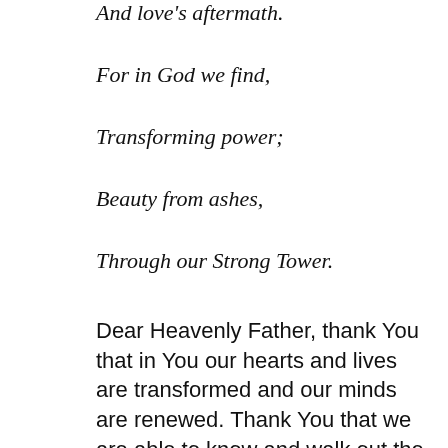And love's aftermath.
For in God we find,
Transforming power;
Beauty from ashes,
Through our Strong Tower.
Dear Heavenly Father, thank You that in You our hearts and lives are transformed and our minds are renewed. Thank You that we are able to know and walk out the good You have for us when we seek You first. Forgive us for the ways that we get caught up in popular culture, rather that pursuing that which You have for us. Teach us to seek You first, so that